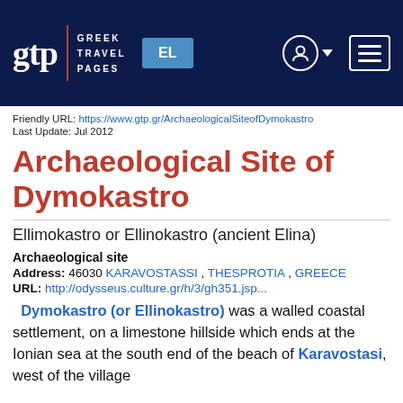GTP Greek Travel Pages | EL | User menu | Hamburger menu
Friendly URL: https://www.gtp.gr/ArchaeologicalSiteofDymokastro
Last Update: Jul 2012
Archaeological Site of Dymokastro
Ellimokastro or Ellinokastro (ancient Elina)
Archaeological site
Address: 46030 KARAVOSTASSI , THESPROTIA , GREECE
URL: http://odysseus.culture.gr/h/3/gh351.jsp...
Dymokastro (or Ellinokastro) was a walled coastal settlement, on a limestone hillside which ends at the Ionian sea at the south end of the beach of Karavostasi, west of the village